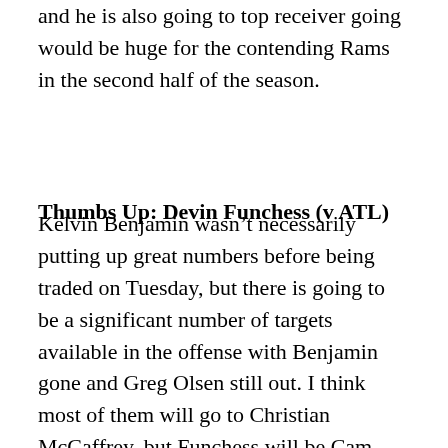and he is also going to top receiver going would be huge for the contending Rams in the second half of the season.
Thumbs Up: Devin Funchess (v ATL)
Kelvin Benjamin wasn't necessarily putting up great numbers before being traded on Tuesday, but there is going to be a significant number of targets available in the offense with Benjamin gone and Greg Olsen still out. I think most of them will go to Christian McCaffrey, but Funchess will be Cam Newton's number-one wide receiver for the rest of the season, and he should be ready for it after showing flashes